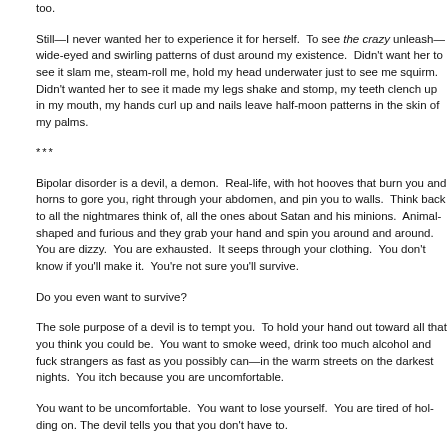too.
Still—I never wanted her to experience it for herself.  To see the crazy unleash—wide-eyed and swirling patterns of dust around my existence.  Didn't want her to see it slam me, steam-roll me, hold my head underwater just to see me squirm.  Didn't want her to see it made my legs shake and stomp, my teeth clench up in my mouth, my hands curl up and nails leave half-moon patterns in the skin of my palms.
***
Bipolar disorder is a devil, a demon.  Real-life, with hot hooves that burn you and horns to gore you, right through your abdomen, and pin you to walls.  Think back to all the nightmares think of, all the ones about Satan and his minions.  Animal-shaped and furious and they grab your hand and spin you around and around.  You are dizzy.  You are exhausted.  It seeps through your clothing.  You don't know if you'll make it.  You're not sure you'll survive.
Do you even want to survive?
The sole purpose of a devil is to tempt you.  To hold your hand out toward all that you think you could be.  You want to smoke weed, drink too much alcohol and fuck strangers as fast as you possibly can—in the warm streets on the darkest nights.  You itch because you are uncomfortable.
You want to be uncomfortable.  You want to lose yourself.  You are tired of holding on.  The devil tells you that you don't have to.